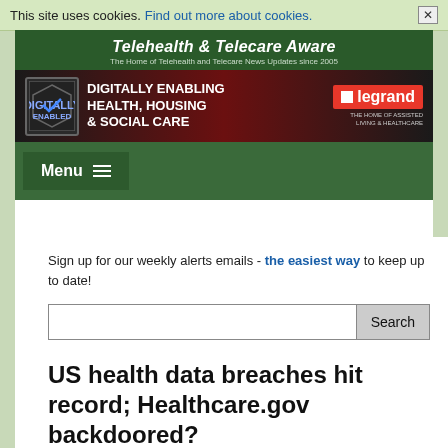This site uses cookies. Find out more about cookies. ✕
[Figure (screenshot): Telehealth & Telecare Aware website header banner with tagline 'The Home of Telehealth and Telecare News Updates since 2005']
[Figure (screenshot): Legrand advertisement banner: 'Digitally Enabling Health, Housing & Social Care' with Legrand logo and badge]
[Figure (screenshot): Dark green navigation bar with Menu hamburger button]
Sign up for our weekly alerts emails - the easiest way to keep up to date!
US health data breaches hit record; Healthcare.gov backdoored?